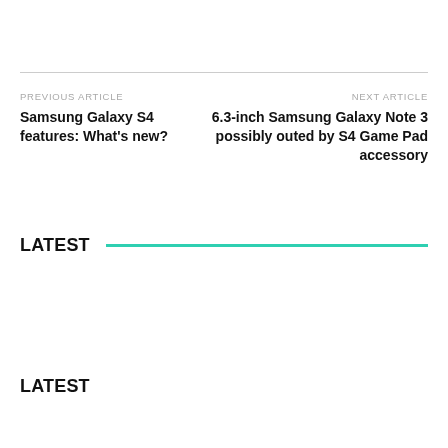PREVIOUS ARTICLE
Samsung Galaxy S4 features: What’s new?
NEXT ARTICLE
6.3-inch Samsung Galaxy Note 3 possibly outed by S4 Game Pad accessory
LATEST
LATEST